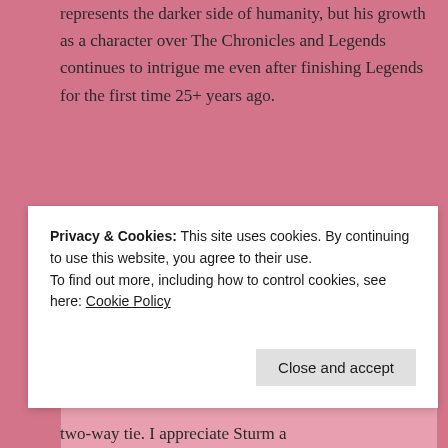represents the darker side of humanity, but his growth as a character over The Chronicles and Legends continues to intrigue me even after finishing Legends for the first time 25+ years ago.
★ Liked by 1 person
↳ Reply
Privacy & Cookies: This site uses cookies. By continuing to use this website, you agree to their use.
To find out more, including how to control cookies, see here: Cookie Policy
Close and accept
two-way tie. I appreciate Sturm a